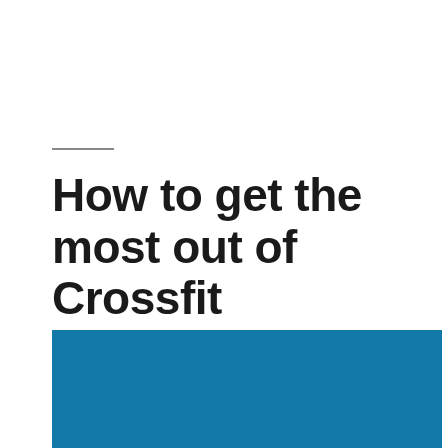How to get the most out of Crossfit
[Figure (photo): Solid blue rectangle representing a photo placeholder for a Crossfit-related image]